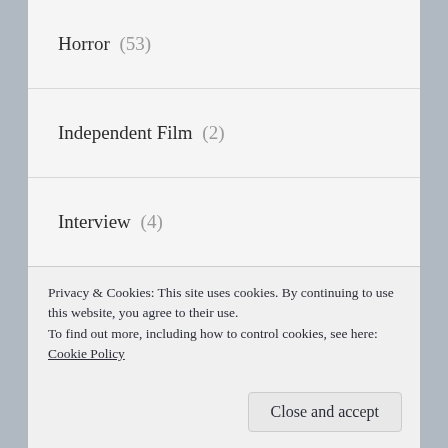Horror (53)
Independent Film (2)
Interview (4)
Japanese (5)
Love Story (41)
Martial Arts (18)
Murder Investigation (48)
Privacy & Cookies: This site uses cookies. By continuing to use this website, you agree to their use.
To find out more, including how to control cookies, see here: Cookie Policy
Close and accept